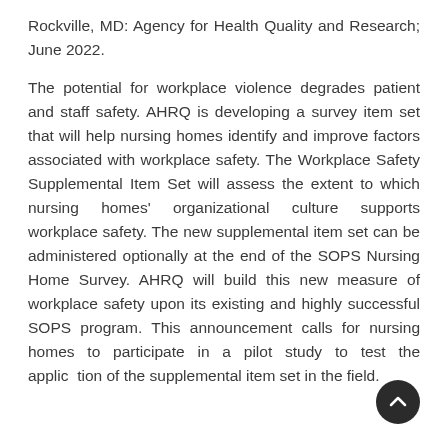Rockville, MD: Agency for Health Quality and Research; June 2022.
The potential for workplace violence degrades patient and staff safety. AHRQ is developing a survey item set that will help nursing homes identify and improve factors associated with workplace safety. The Workplace Safety Supplemental Item Set will assess the extent to which nursing homes' organizational culture supports workplace safety. The new supplemental item set can be administered optionally at the end of the SOPS Nursing Home Survey. AHRQ will build this new measure of workplace safety upon its existing and highly successful SOPS program. This announcement calls for nursing homes to participate in a pilot study to test the application of the supplemental item set in the field.